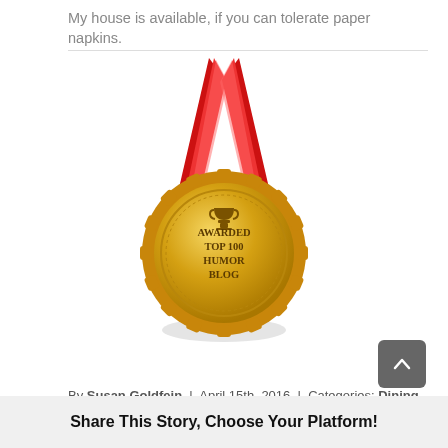My house is available, if you can tolerate paper napkins.
[Figure (illustration): Gold award medal with red ribbon, text reading AWARDED TOP 100 HUMOR BLOG with a trophy icon]
By Susan Goldfein | April 15th, 2016 | Categories: Dining, House Guests | 4 Comments
Share This Story, Choose Your Platform!